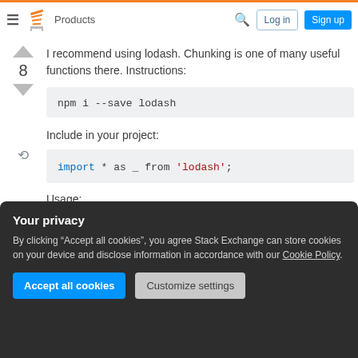≡  [Stack Overflow logo]  Products  🔍  Log in  Sign up
I recommend using lodash. Chunking is one of many useful functions there. Instructions:
npm i --save lodash
Include in your project:
import * as _ from 'lodash';
Usage:
Your privacy
By clicking "Accept all cookies", you agree Stack Exchange can store cookies on your device and disclose information in accordance with our Cookie Policy.
Accept all cookies  Customize settings